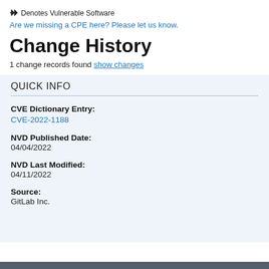✦ Denotes Vulnerable Software
Are we missing a CPE here? Please let us know.
Change History
1 change records found show changes
QUICK INFO
CVE Dictionary Entry:
CVE-2022-1188
NVD Published Date:
04/04/2022
NVD Last Modified:
04/11/2022
Source:
GitLab Inc.